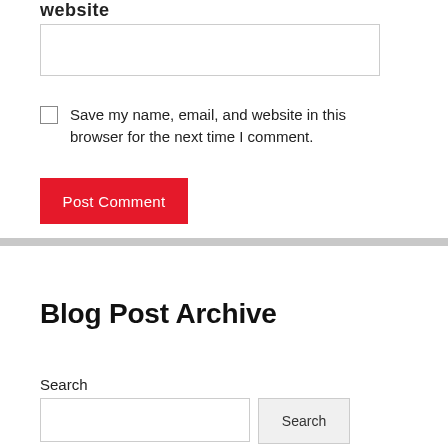website
Save my name, email, and website in this browser for the next time I comment.
Post Comment
Blog Post Archive
Search
Post Index (last updated 30 Nov 2018)